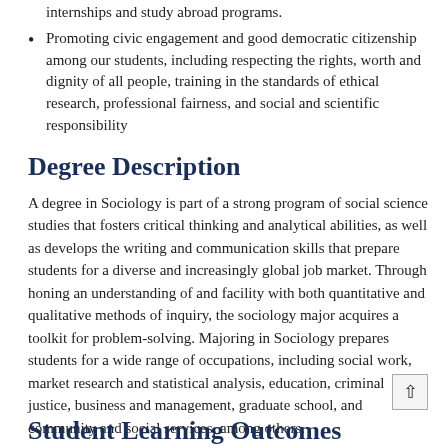internships and study abroad programs.
Promoting civic engagement and good democratic citizenship among our students, including respecting the rights, worth and dignity of all people, training in the standards of ethical research, professional fairness, and social and scientific responsibility
Degree Description
A degree in Sociology is part of a strong program of social science studies that fosters critical thinking and analytical abilities, as well as develops the writing and communication skills that prepare students for a diverse and increasingly global job market. Through honing an understanding of and facility with both quantitative and qualitative methods of inquiry, the sociology major acquires a toolkit for problem-solving. Majoring in Sociology prepares students for a wide range of occupations, including social work, market research and statistical analysis, education, criminal justice, business and management, graduate school, and community and social services, among others.
Student Learning Outcomes